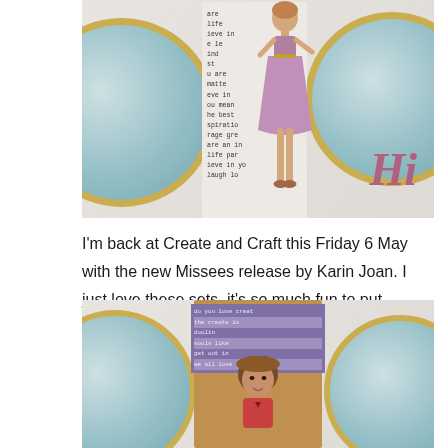[Figure (photo): Craft project photo showing a handmade card with a paper doll figure in a purple skirt, text-printed background paper, and the word 'Hi' in pink/purple. The card is displayed on decorative plates with a gold rim on a marble surface.]
I'm back at Create and Craft this Friday 6 May with the new Missees release by Karin Joan. I just love these sets, it's so much fun to put together characters, and it reminds me of making paper dolls as a child.
[Figure (photo): Second craft project photo showing a paper doll figure with brown hair displayed in a kraft envelope with a purple striped label, on decorative plates with gold rim on a marble surface.]